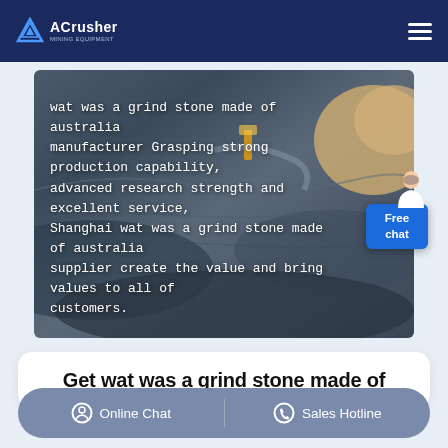ACrusher
[Figure (photo): Aerial view of a mining quarry with excavation equipment and rocky terrain, dark blue-grey stone surfaces]
wat was a grind stone made of australia manufacturer Grasping strong production capability, advanced research strength and excellent service, Shanghai wat was a grind stone made of australia supplier create the value and bring values to all of customers.
Free chat
Get wat was a grind stone made of
Online Chat   Sales Hotline